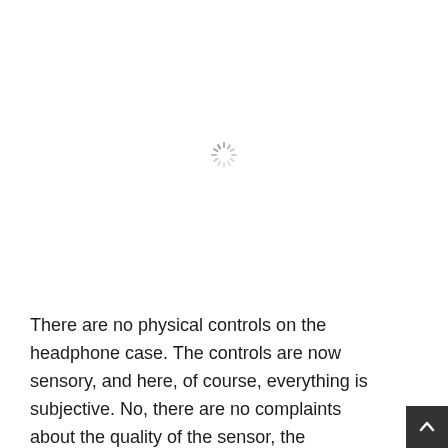[Figure (other): A loading spinner icon (circular dashed/dotted spinner in gray) centered in the upper portion of the page, indicating content is loading.]
There are no physical controls on the headphone case. The controls are now sensory, and here, of course, everything is subjective. No, there are no complaints about the quality of the sensor, the commands are